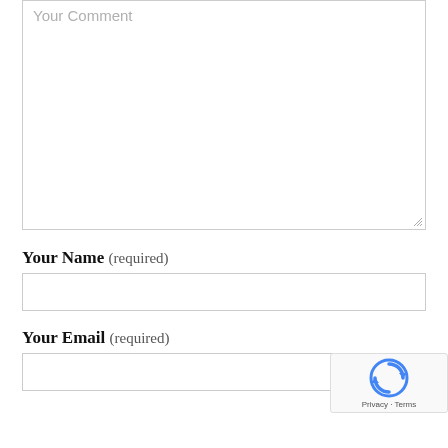Your Comment
Your Name (required)
Your Email (required)
[Figure (other): reCAPTCHA badge with Google reCAPTCHA logo and Privacy - Terms text]